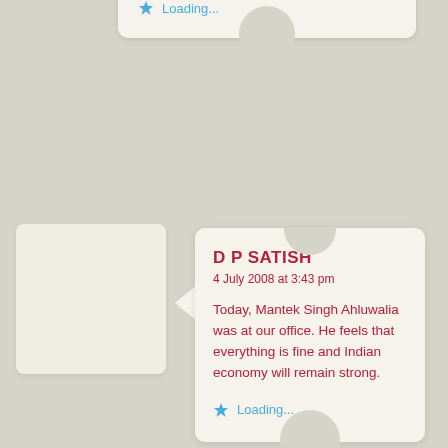Loading...
D P SATISH
4 July 2008 at 3:43 pm
Today, Mantek Singh Ahluwalia was at our office. He feels that everything is fine and Indian economy will remain strong.
Loading...